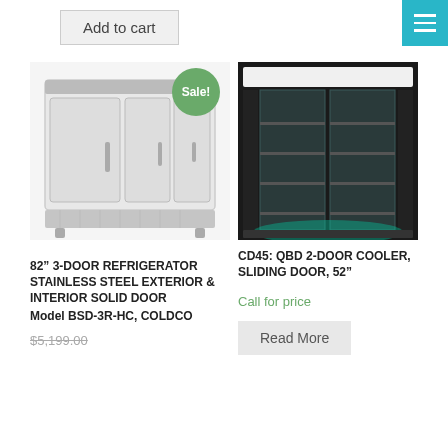Add to cart
[Figure (photo): Three-door stainless steel commercial refrigerator with Sale badge]
[Figure (photo): CD45 QBD 2-door sliding glass cooler, black exterior]
82” 3-DOOR REFRIGERATOR STAINLESS STEEL EXTERIOR & INTERIOR SOLID DOOR Model BSD-3R-HC, COLDCO
CD45: QBD 2-DOOR COOLER, SLIDING DOOR, 52”
Call for price
$5,199.00